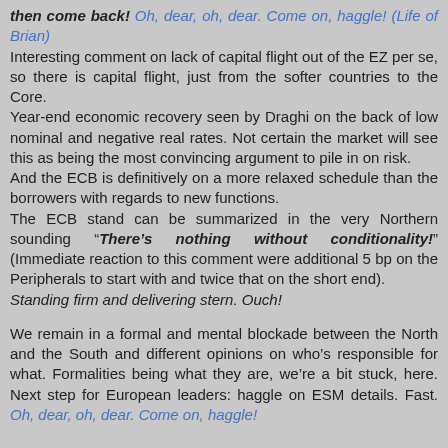then come back! Oh, dear, oh, dear. Come on, haggle! (Life of Brian) Interesting comment on lack of capital flight out of the EZ per se, so there is capital flight, just from the softer countries to the Core. Year-end economic recovery seen by Draghi on the back of low nominal and negative real rates. Not certain the market will see this as being the most convincing argument to pile in on risk. And the ECB is definitively on a more relaxed schedule than the borrowers with regards to new functions. The ECB stand can be summarized in the very Northern sounding "There's nothing without conditionality!" (Immediate reaction to this comment were additional 5 bp on the Peripherals to start with and twice that on the short end). Standing firm and delivering stern. Ouch!
We remain in a formal and mental blockade between the North and the South and different opinions on who's responsible for what. Formalities being what they are, we're a bit stuck, here. Next step for European leaders: haggle on ESM details. Fast. Oh, dear, oh, dear. Come on, haggle!